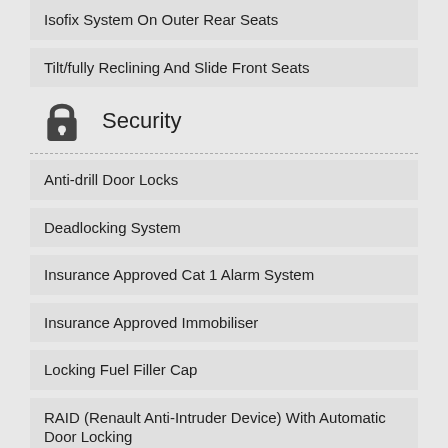Isofix System On Outer Rear Seats
Tilt/fully Reclining And Slide Front Seats
Security
Anti-drill Door Locks
Deadlocking System
Insurance Approved Cat 1 Alarm System
Insurance Approved Immobiliser
Locking Fuel Filler Cap
RAID (Renault Anti-Intruder Device) With Automatic Door Locking
Remote Central Locking
Renault Hands Free Keycard + Reach Adjustable